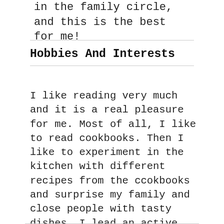in the family circle, and this is the best for me!
Hobbies And Interests
I like reading very much and it is a real pleasure for me. Most of all, I like to read cookbooks. Then I like to experiment in the kitchen with different recipes from the ccokbooks and surprise my family and close people with tasty dishes. I lead an active lifestyle. Swimming and running are in great interest for me. And I adore being in nature and receiving a pleasure from picnics in the forest! And on weekends I like to go to the theatre or cinema. I hope that some day you will be my partner at my interests of the life!